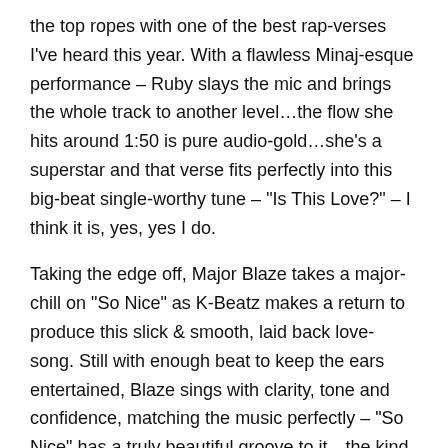the top ropes with one of the best rap-verses I've heard this year. With a flawless Minaj-esque performance – Ruby slays the mic and brings the whole track to another level…the flow she hits around 1:50 is pure audio-gold…she's a superstar and that verse fits perfectly into this big-beat single-worthy tune – "Is This Love?" – I think it is, yes, yes I do.
Taking the edge off, Major Blaze takes a major-chill on "So Nice" as K-Beatz makes a return to produce this slick & smooth, laid back love-song. Still with enough beat to keep the ears entertained, Blaze sings with clarity, tone and confidence, matching the music perfectly – "So Nice" has a truly beautiful groove to it…the kind of song that can't help but get the head noddin' along and a smile upon your face. Smart trade-offs between the lead and backing vocals…everything about this track sparkles and shines with accessible rhythm…definitely a stunning track from Major Blaze…he's definitely heating up the middle of this Champion Sound EP, no